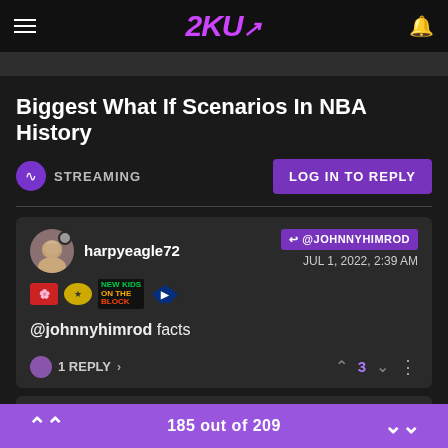2KU
Biggest What If Scenarios In NBA History
STREAMING | LOG IN TO REPLY
harpyeagle72 @JOHNNYHIMROD JUL 1, 2022, 2:39 AM
@johnnyhimrod facts
1 REPLY > 3
errolzzz @HARPYEAGLE72
185 out of 209